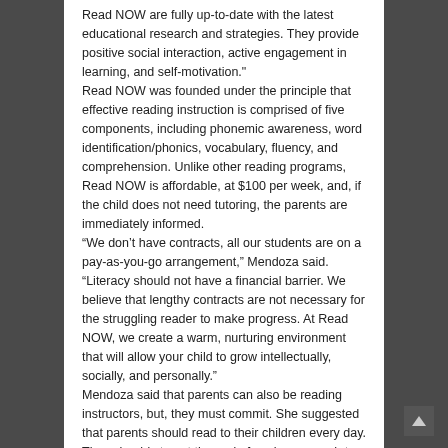Read NOW are fully up-to-date with the latest educational research and strategies. They provide positive social interaction, active engagement in learning, and self-motivation."
Read NOW was founded under the principle that effective reading instruction is comprised of five components, including phonemic awareness, word identification/phonics, vocabulary, fluency, and comprehension. Unlike other reading programs, Read NOW is affordable, at $100 per week, and, if the child does not need tutoring, the parents are immediately informed.
“We don’t have contracts, all our students are on a pay-as-you-go arrangement,” Mendoza said. “Literacy should not have a financial barrier. We believe that lengthy contracts are not necessary for the struggling reader to make progress. At Read NOW, we create a warm, nurturing environment that will allow your child to grow intellectually, socially, and personally.”
Mendoza said that parents can also be reading instructors, but, they must commit. She suggested that parents should read to their children every day. They should stop at the end of each paragraph to ask the child if he understood what he read. Another thing she suggests is to focus on fluency – that is, how fast do